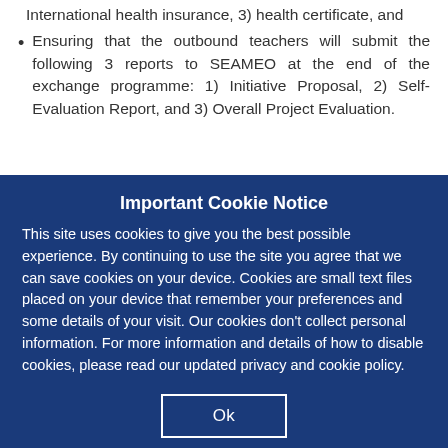International health insurance, 3) health certificate, and
Ensuring that the outbound teachers will submit the following 3 reports to SEAMEO at the end of the exchange programme: 1) Initiative Proposal, 2) Self-Evaluation Report, and 3) Overall Project Evaluation.
Important Cookie Notice
This site uses cookies to give you the best possible experience. By continuing to use the site you agree that we can save cookies on your device. Cookies are small text files placed on your device that remember your preferences and some details of your visit. Our cookies don't collect personal information. For more information and details of how to disable cookies, please read our updated privacy and cookie policy.
Ok